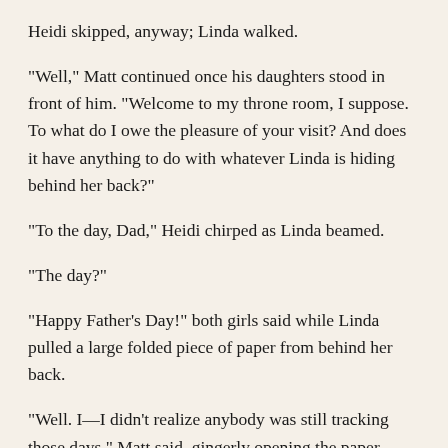Heidi skipped, anyway; Linda walked.
“Well,” Matt continued once his daughters stood in front of him. “Welcome to my throne room, I suppose. To what do I owe the pleasure of your visit? And does it have anything to do with whatever Linda is hiding behind her back?”
“To the day, Dad,” Heidi chirped as Linda beamed.
“The day?”
“Happy Father’s Day!” both girls said while Linda pulled a large folded piece of paper from behind her back.
“Well. I—I didn’t realize anybody was still tracking those days,” Matt said, gingerly opening the paper. Inside was a well-drawn portrait of the god of war and his wife, dressed up in regal finery as they had been on their date to Olympus, with both girls’ signatures below.
“It’s beautiful, girls. Thank you. You both worked at drawing this?” As both girls’ heads bobbed, he smiled and said, “I’m proud to